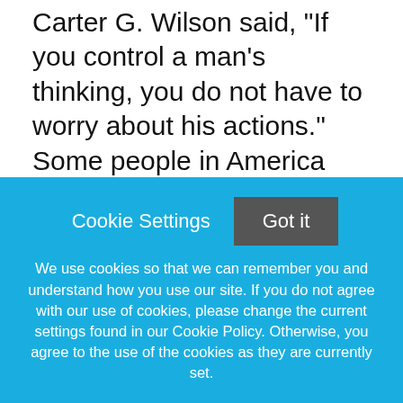Carter G. Wilson said, "If you control a man's thinking, you do not have to worry about his actions." Some people in America think wealth and prosperity are restricted to a select few in America; I choose not to believe that. Instead, I believe... "As a man or woman thinketh, so it is!" Both are true if you think you cannot or believe you can!
As members of NAWIC and citizens in America, let's work hard to eliminate social and economic
Cookie Settings
Got it
We use cookies so that we can remember you and understand how you use our site. If you do not agree with our use of cookies, please change the current settings found in our Cookie Policy. Otherwise, you agree to the use of the cookies as they are currently set.